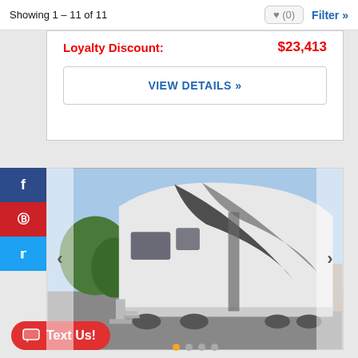Showing 1 – 11 of 11
Loyalty Discount: $23,413
VIEW DETAILS »
[Figure (screenshot): Photo of a large fifth-wheel RV trailer in a parking lot with blue sky and trees in background. Social media sharing sidebar on left (Facebook, Pinterest, Twitter). Navigation arrows on sides. Heart icon top-right. Dot pagination at bottom.]
Text Us!